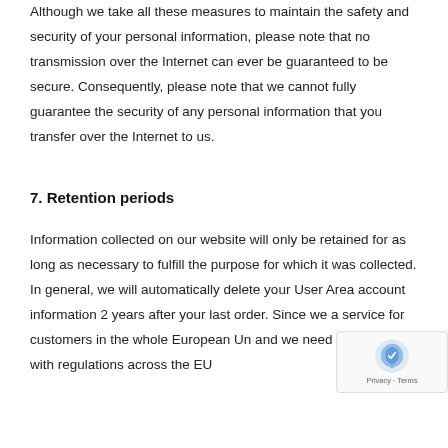Although we take all these measures to maintain the safety and security of your personal information, please note that no transmission over the Internet can ever be guaranteed to be secure. Consequently, please note that we cannot fully guarantee the security of any personal information that you transfer over the Internet to us.
7. Retention periods
Information collected on our website will only be retained for as long as necessary to fulfill the purpose for which it was collected. In general, we will automatically delete your User Area account information 2 years after your last order. Since we a service for customers in the whole European Un and we need to comply with regulations across the EU